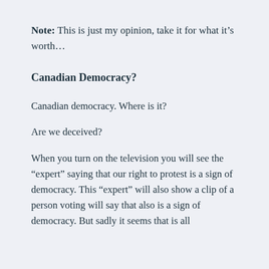Note: This is just my opinion, take it for what it’s worth…
Canadian Democracy?
Canadian democracy. Where is it?
Are we deceived?
When you turn on the television you will see the “expert” saying that our right to protest is a sign of democracy. This “expert” will also show a clip of a person voting will say that also is a sign of democracy. But sadly it seems that is all